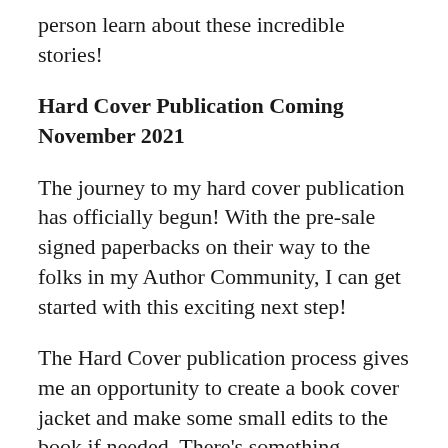person learn about these incredible stories!
Hard Cover Publication Coming November 2021
The journey to my hard cover publication has officially begun! With the pre-sale signed paperbacks on their way to the folks in my Author Community, I can get started with this exciting next step!
The Hard Cover publication process gives me an opportunity to create a book cover jacket and make some small edits to the book if needed. There's something exciting and prestigious about a hard cover book,